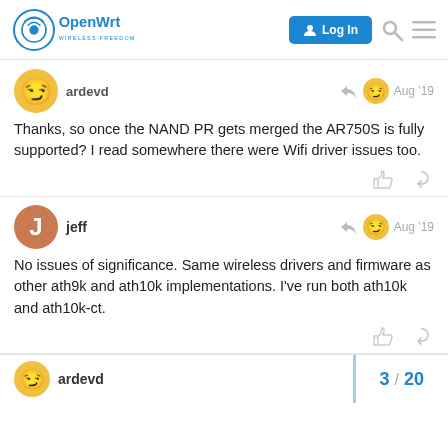OpenWrt — Wireless Freedom | Log In
[Figure (screenshot): First post: user ardevd avatar with smirking emoji face, reply icon, another emoji avatar, timestamp Aug '19. Post text: 'Thanks, so once the NAND PR gets merged the AR750S is fully supported? I read somewhere there were Wifi driver issues too.' with like and link action icons.]
[Figure (screenshot): Second post: user jeff with orange J avatar, reply icon, smirking emoji avatar, timestamp Aug '19. Post text: 'No issues of significance. Same wireless drivers and firmware as other ath9k and ath10k implementations. I've run both ath10k and ath10k-ct.' with like and link action icons.]
[Figure (screenshot): Bottom bar: ardevd user avatar and username on left, pagination '3 / 20' on right with blue left border accent.]